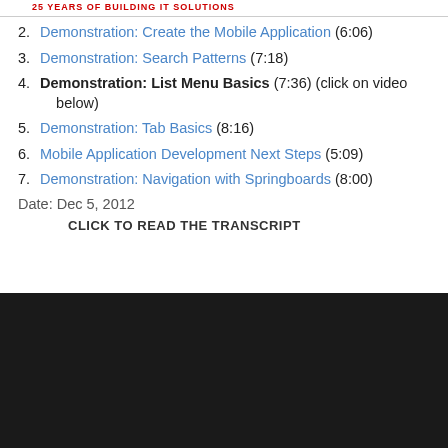25 YEARS OF BUILDING IT SOLUTIONS
2. Demonstration: Create the Mobile Application (6:06)
3. Demonstration: Search Patterns (7:18)
4. Demonstration: List Menu Basics (7:36) (click on video below)
5. Demonstration: Tab Basics (8:16)
6. Mobile Application Development Next Steps (5:09)
7. Demonstration: Navigation with Springboards (8:00)
Date: Dec 5, 2012
CLICK TO READ THE TRANSCRIPT
[Figure (other): Embedded video player with dark background]